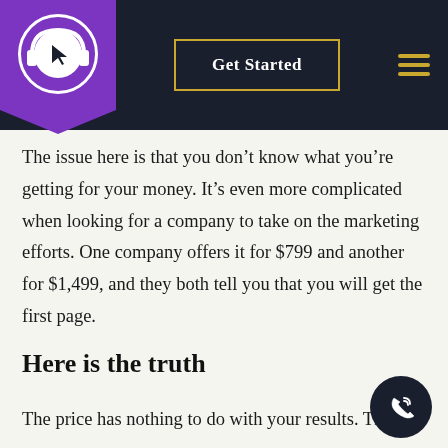Get Started
The issue here is that you don't know what you're getting for your money. It's even more complicated when looking for a company to take on the marketing efforts. One company offers it for $799 and another for $1,499, and they both tell you that you will get the first page.
Here is the truth
The price has nothing to do with your results. That's